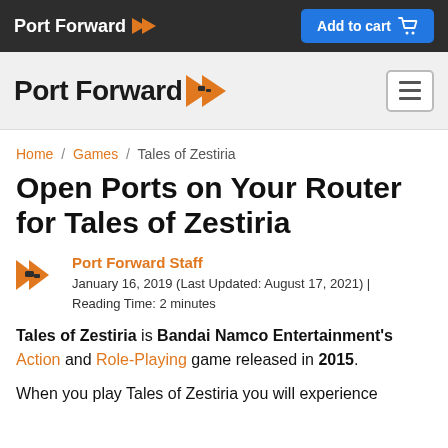Port Forward | Add to cart
Port Forward (navigation logo with hamburger menu)
Home / Games / Tales of Zestiria
Open Ports on Your Router for Tales of Zestiria
Port Forward Staff
January 16, 2019 (Last Updated: August 17, 2021) | Reading Time: 2 minutes
Tales of Zestiria is Bandai Namco Entertainment's Action and Role-Playing game released in 2015.
When you play Tales of Zestiria you will experience